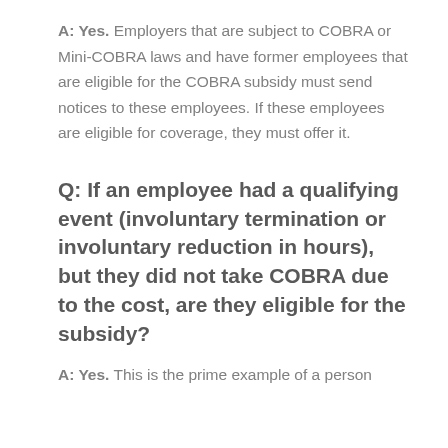A: Yes. Employers that are subject to COBRA or Mini-COBRA laws and have former employees that are eligible for the COBRA subsidy must send notices to these employees. If these employees are eligible for coverage, they must offer it.
Q: If an employee had a qualifying event (involuntary termination or involuntary reduction in hours), but they did not take COBRA due to the cost, are they eligible for the subsidy?
A: Yes. This is the prime example of a person